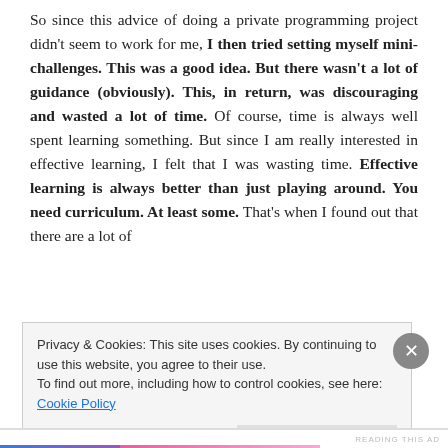So since this advice of doing a private programming project didn't seem to work for me, I then tried setting myself mini-challenges. This was a good idea. But there wasn't a lot of guidance (obviously). This, in return, was discouraging and wasted a lot of time. Of course, time is always well spent learning something. But since I am really interested in effective learning, I felt that I was wasting time. Effective learning is always better than just playing around. You need curriculum. At least some. That's when I found out that there are a lot of
Privacy & Cookies: This site uses cookies. By continuing to use this website, you agree to their use.
To find out more, including how to control cookies, see here: Cookie Policy
Close and accept